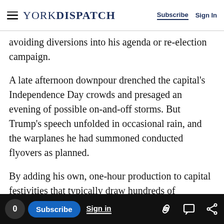YORK DISPATCH — Subscribe | Sign In
avoiding diversions into his agenda or re-election campaign.
A late afternoon downpour drenched the capital's Independence Day crowds and presaged an evening of possible on-and-off storms. But Trump's speech unfolded in occasional rain, and the warplanes he had summoned conducted flyovers as planned.
By adding his own, one-hour production to capital festivities that typically draw hundreds of thousands anyway, Trump became the first
0 Subscribe Sign in